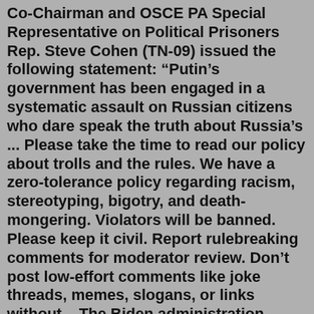Co-Chairman and OSCE PA Special Representative on Political Prisoners Rep. Steve Cohen (TN-09) issued the following statement: “Putin’s government has been engaged in a systematic assault on Russian citizens who dare speak the truth about Russia’s ... Please take the time to read our policy about trolls and the rules. We have a zero-tolerance policy regarding racism, stereotyping, bigotry, and death-mongering. Violators will be banned. Please keep it civil. Report rulebreaking comments for moderator review. Don’t post low-effort comments like joke threads, memes, slogans, or links without ...The Biden administration revealed this afternoon that officials offered Russia a deal last month to bring home Griner and Paul Whelan, an American citizen held in Russia since 2018. Secretary of...The Russians pulled back, however, and let the Grande Armée capture the city of Vilna on June 27 with barely a fight. In an ominous sign of things to come, an electrical storm pouring down freezing...KYIV, Ukraine -- Ukraine accused Moscow on Thursday of forcibly taking